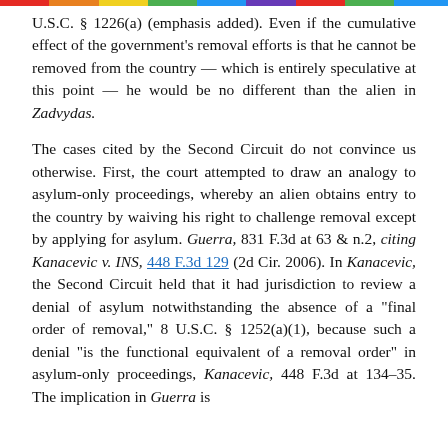U.S.C. § 1226(a) (emphasis added). Even if the cumulative effect of the government's removal efforts is that he cannot be removed from the country — which is entirely speculative at this point — he would be no different than the alien in Zadvydas.
The cases cited by the Second Circuit do not convince us otherwise. First, the court attempted to draw an analogy to asylum-only proceedings, whereby an alien obtains entry to the country by waiving his right to challenge removal except by applying for asylum. Guerra, 831 F.3d at 63 & n.2, citing Kanacevic v. INS, 448 F.3d 129 (2d Cir. 2006). In Kanacevic, the Second Circuit held that it had jurisdiction to review a denial of asylum notwithstanding the absence of a "final order of removal," 8 U.S.C. § 1252(a)(1), because such a denial "is the functional equivalent of a removal order" in asylum-only proceedings, Kanacevic, 448 F.3d at 134–35. The implication in Guerra is